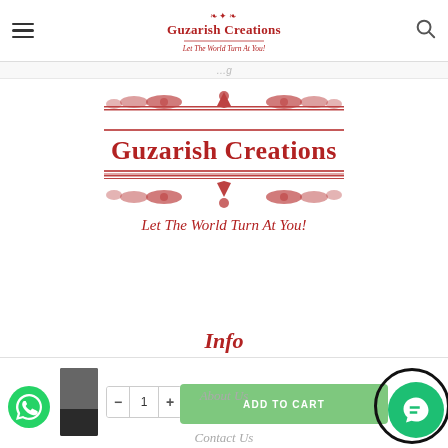Guzarish Creations — Let The World Turn At You!
[Figure (logo): Guzarish Creations logo with ornamental border design in red, text 'Guzarish Creations' and tagline 'Let The World Turn At You!']
Info
About Us
Contact Us